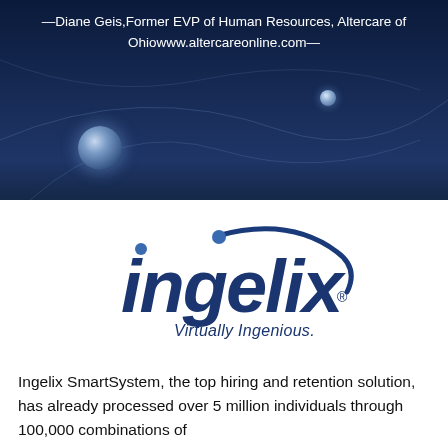[Figure (illustration): Dark navy blue banner background with decorative network orbs and arc lines, top portion of a marketing document page]
—Diane Geis, Former EVP of Human Resources, Altercare of Ohiowww.altercareonline.com—
[Figure (logo): Ingelix logo — stylized blue italic text 'ingelix' with a swoosh arc and dot above the 'i', with registered trademark symbol, and tagline 'Virtually Ingenious.']
Ingelix SmartSystem, the top hiring and retention solution, has already processed over 5 million individuals through 100,000 combinations of